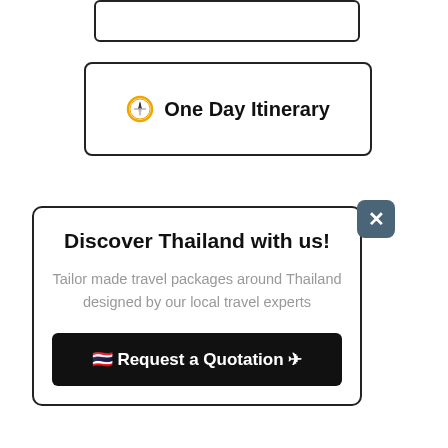[Figure (screenshot): Partial top navigation box, partially cropped at top]
One Day Itinerary
Discover Thailand with us!
Tailor made travel packages around Thailand designed by our local travel experts
🇹🇭 Request a Quotation ✈